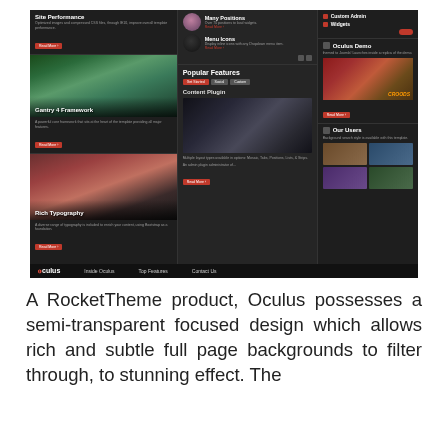[Figure (screenshot): Screenshot of the Oculus RocketTheme WordPress/Joomla template showing a dark-themed website with three columns: left column with Site Performance, Gantry 4 Framework, and Rich Typography sections with movie-style images; middle column with Many Positions, Menu Icons, and Popular Features/Content Plugin sections; right column with Custom Admin, Widgets, Oculus Demo, and Our Users sections. Footer bar shows Oculus logo, Inside Oculus, Top Features, and Contact Us navigation.]
A RocketTheme product, Oculus possesses a semi-transparent focused design which allows rich and subtle full page backgrounds to filter through, to stunning effect. The